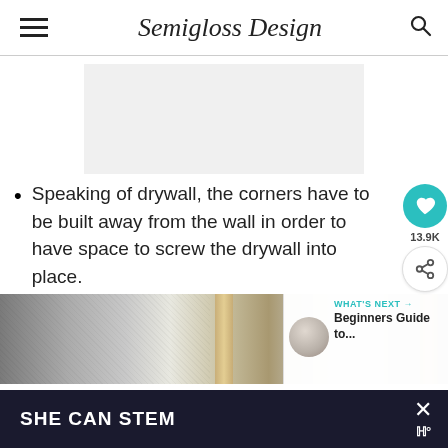Semigloss Design
[Figure (other): Light gray advertisement placeholder rectangle]
Speaking of drywall, the corners have to be built away from the wall in order to have space to screw the drywall into place.
[Figure (photo): Photo of a wall corner with wood framing studs visible and white textured drywall on either side]
WHAT'S NEXT → Beginners Guide to...
SHE CAN STEM